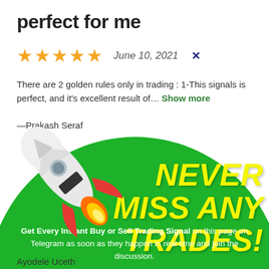perfect for me
★★★★★   June 10, 2021   ✕
There are 2 golden rules only in trading : 1-This signals is perfect, and it's excellent result of… Show more
—Prakash Seraf
[Figure (infographic): Green circular promotional banner with a 3D rocket illustration and bold yellow italic text reading 'NEVER MISS ANY TRADES!' with a white subheading about trading signals on Telegram]
Ayodele Uceth